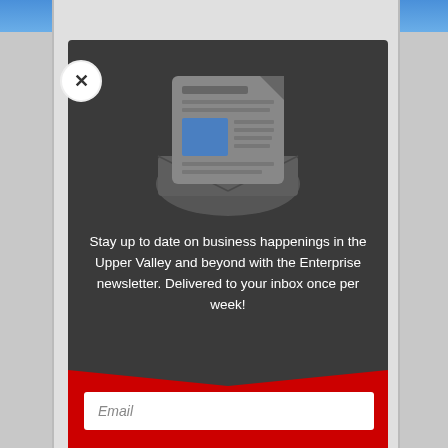[Figure (illustration): Newsletter envelope icon with newspaper document inside, rendered in grey tones]
Stay up to date on business happenings in the Upper Valley and beyond with the Enterprise newsletter. Delivered to your inbox once per week!